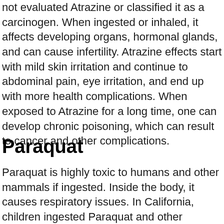not evaluated Atrazine or classified it as a carcinogen. When ingested or inhaled, it affects developing organs, hormonal glands, and can cause infertility. Atrazine effects start with mild skin irritation and continue to abdominal pain, eye irritation, and end up with more health complications. When exposed to Atrazine for a long time, one can develop chronic poisoning, which can result to cancer and other complications.
Paraquat
Paraquat is highly toxic to humans and other mammals if ingested. Inside the body, it causes respiratory issues. In California, children ingested Paraquat and other insecticides stored in unlabeled soda bottles,